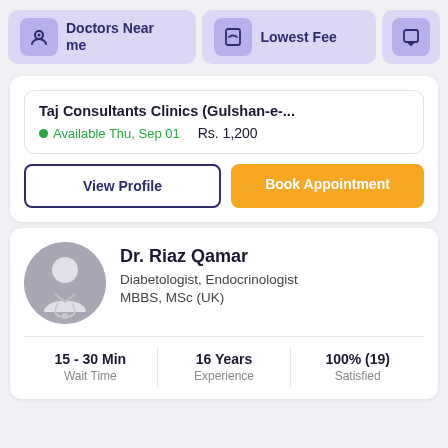[Figure (screenshot): Top navigation bar with 'Doctors Near me', 'Lowest Fee', and a partially visible third option button]
Taj Consultants Clinics (Gulshan-e-...
Available Thu, Sep 01    Rs. 1,200
View Profile
Book Appointment
Dr. Riaz Qamar
Diabetologist, Endocrinologist
MBBS, MSc (UK)
15 - 30 Min
Wait Time
16 Years
Experience
100% (19)
Satisfied